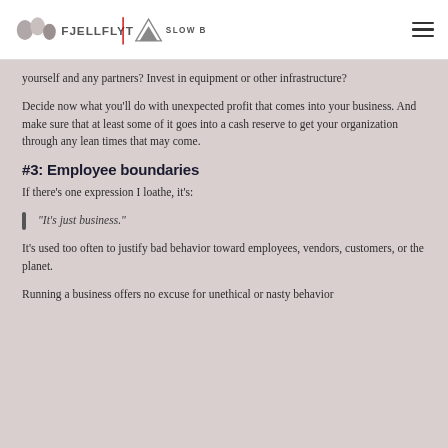FJELLFLYT | SLOW BUSINESS℠
yourself and any partners? Invest in equipment or other infrastructure?
Decide now what you'll do with unexpected profit that comes into your business. And make sure that at least some of it goes into a cash reserve to get your organization through any lean times that may come.
#3: Employee boundaries
If there's one expression I loathe, it's:
"It's just business."
It's used too often to justify bad behavior toward employees, vendors, customers, or the planet.
Running a business offers no excuse for unethical or nasty behavior